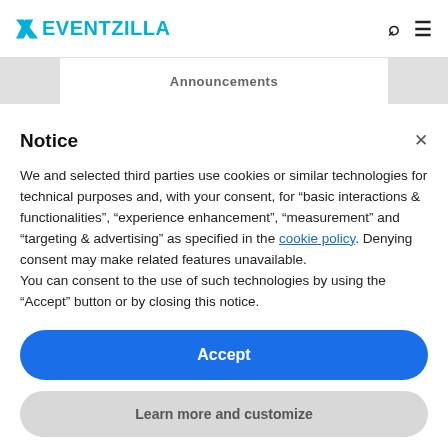EVENTZILLA
Announcements
Notice
We and selected third parties use cookies or similar technologies for technical purposes and, with your consent, for “basic interactions & functionalities”, “experience enhancement”, “measurement” and “targeting & advertising” as specified in the cookie policy. Denying consent may make related features unavailable.
You can consent to the use of such technologies by using the “Accept” button or by closing this notice.
Accept
Learn more and customize